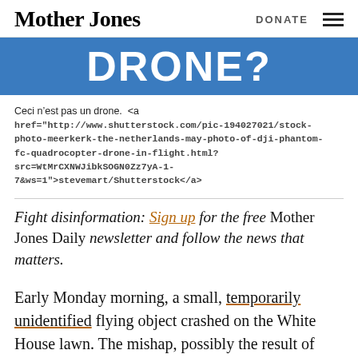Mother Jones | DONATE
[Figure (other): Blue banner with large white bold text reading DRONE?]
Ceci n’est pas un drone.  <a href="http://www.shutterstock.com/pic-194027021/stock-photo-meerkerk-the-netherlands-may-photo-of-dji-phantom-fc-quadrocopter-drone-in-flight.html?src=WtMrCXNWJibkSOGN0Zz7yA-1-7&ws=1">stevemart/Shutterstock</a>
Fight disinformation: Sign up for the free Mother Jones Daily newsletter and follow the news that matters.
Early Monday morning, a small, temporarily unidentified flying object crashed on the White House lawn. The mishap, possibly the result of